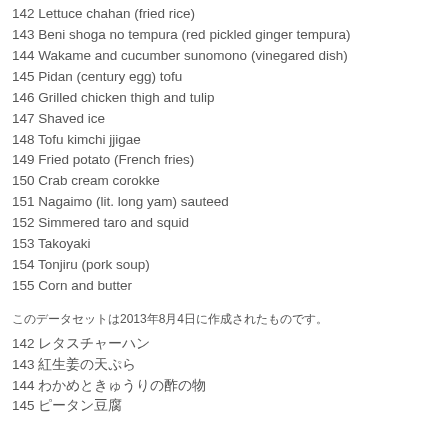142 Lettuce chahan (fried rice)
143 Beni shoga no tempura (red pickled ginger tempura)
144 Wakame and cucumber sunomono (vinegared dish)
145 Pidan (century egg) tofu
146 Grilled chicken thigh and tulip
147 Shaved ice
148 Tofu kimchi jjigae
149 Fried potato (French fries)
150 Crab cream corokke
151 Nagaimo (lit. long yam) sauteed
152 Simmered taro and squid
153 Takoyaki
154 Tonjiru (pork soup)
155 Corn and butter
このデータセットは2013年8月4日に作成されたものです。
142 レタスチャーハン
143 紅生姜の天ぷら
144 わかめときゅうりの酢の物
145 ピータン豆腐